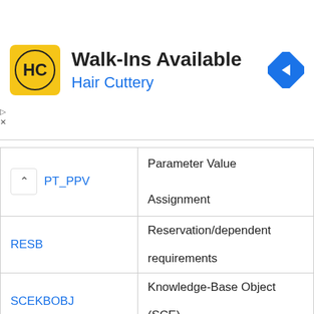[Figure (infographic): Ad banner for Hair Cuttery - Walk-Ins Available with HC logo and navigation icon]
| PT_PPV | Parameter Value Assignment |
| RESB | Reservation/dependent requirements |
| SCEKBOBJ | Knowledge-Base Object (SCE) |
| STAS | BOMs - Item Selection |
| STKO | BOM Header |